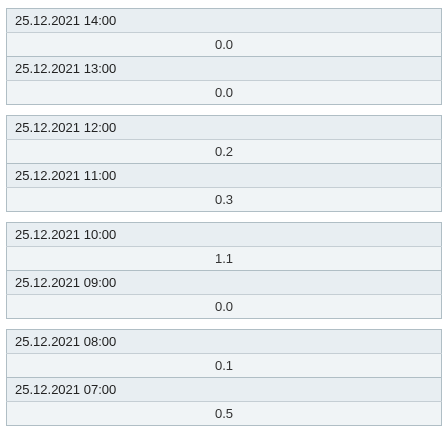| 25.12.2021 14:00 |  |
|  | 0.0 |
| 25.12.2021 13:00 |  |
|  | 0.0 |
| 25.12.2021 12:00 |  |
|  | 0.2 |
| 25.12.2021 11:00 |  |
|  | 0.3 |
| 25.12.2021 10:00 |  |
|  | 1.1 |
| 25.12.2021 09:00 |  |
|  | 0.0 |
| 25.12.2021 08:00 |  |
|  | 0.1 |
| 25.12.2021 07:00 |  |
|  | 0.5 |